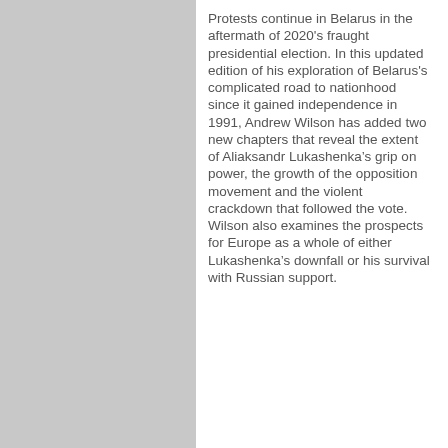Protests continue in Belarus in the aftermath of 2020's fraught presidential election. In this updated edition of his exploration of Belarus's complicated road to nationhood since it gained independence in 1991, Andrew Wilson has added two new chapters that reveal the extent of Aliaksandr Lukashenka’s grip on power, the growth of the opposition movement and the violent crackdown that followed the vote. Wilson also examines the prospects for Europe as a whole of either Lukashenka’s downfall or his survival with Russian support.